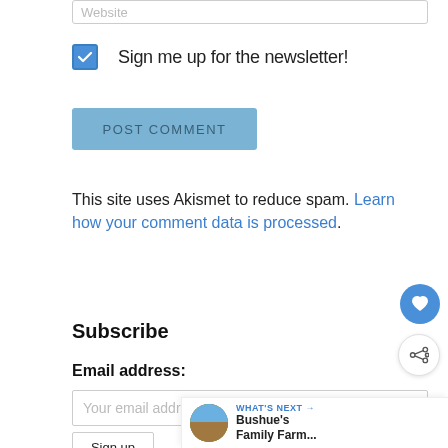Website
Sign me up for the newsletter!
POST COMMENT
This site uses Akismet to reduce spam. Learn how your comment data is processed.
Subscribe
Email address:
Your email address
Sign up
WHAT'S NEXT → Bushue's Family Farm...